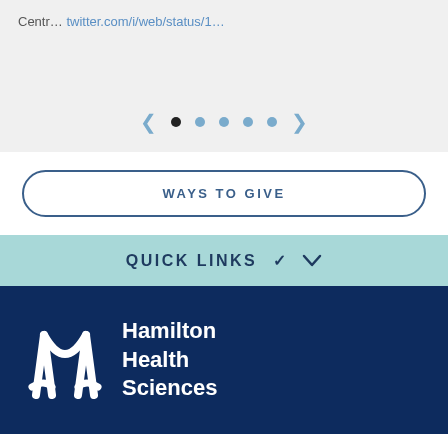Centr… twitter.com/i/web/status/1…
[Figure (screenshot): Carousel navigation with left/right arrows and 5 pagination dots (first dot filled black, four dots in blue)]
WAYS TO GIVE
QUICK LINKS
[Figure (logo): Hamilton Health Sciences logo — white H-arch icon on dark navy background with text 'Hamilton Health Sciences']